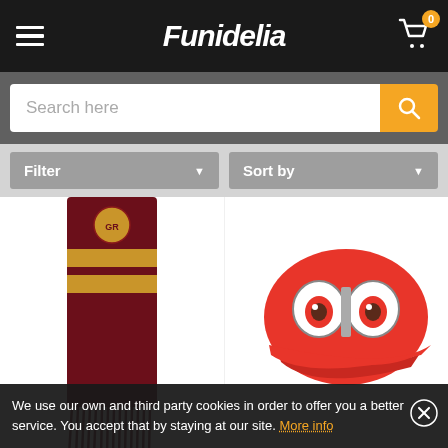Funidelia
Search here
Filter
Sort by
[Figure (photo): Deluxe edition Gryffindor scarf - dark red and gold striped scarf with fringe and Gryffindor crest badge]
[Figure (photo): Super Mario Odyssey cap - red baseball cap with large cartoon eyes on the front]
Deluxe edition Gryffindor scarf-
Super Mario Odyssey cap...
We use our own and third party cookies in order to offer you a better service. You accept that by staying at our site. More info